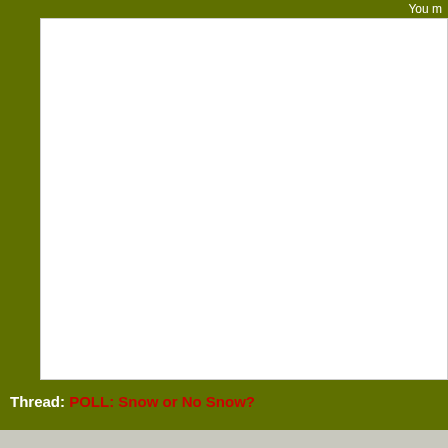You m
[Figure (screenshot): White content area of a forum page, partially visible]
Poll: SNOW OR NO?
Be advised that this is a public poll: other
○ Yes - I love the Forum Snow
○ No - I don't like it.
[Vote Now] [View Poll Results]
Thread: POLL: Snow or No Snow?